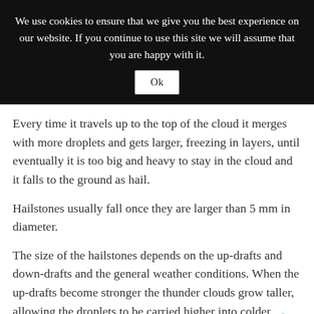We use cookies to ensure that we give you the best experience on our website. If you continue to use this site we will assume that you are happy with it.
Every time it travels up to the top of the cloud it merges with more droplets and gets larger, freezing in layers, until eventually it is too big and heavy to stay in the cloud and it falls to the ground as hail.
Hailstones usually fall once they are larger than 5 mm in diameter.
The size of the hailstones depends on the up-drafts and down-drafts and the general weather conditions. When the up-drafts become stronger the thunder clouds grow taller, allowing the droplets to be carried higher into colder temperatures. This usually